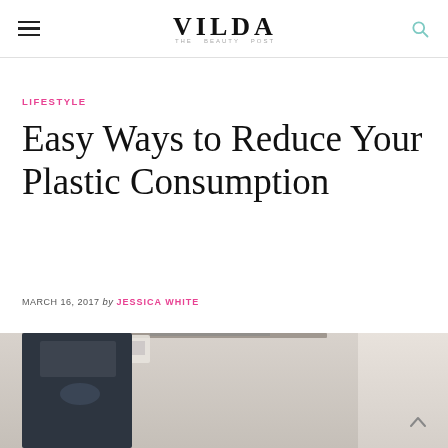VILDA
LIFESTYLE
Easy Ways to Reduce Your Plastic Consumption
MARCH 16, 2017 by JESSICA WHITE
[Figure (photo): Photo showing a dark kitchen appliance on a counter or shelf with a light-colored wall background]